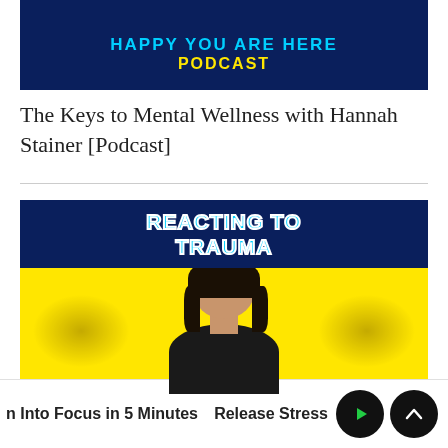[Figure (screenshot): Happy You Are Here Podcast banner — dark navy background with 'HAPPY YOU ARE HERE' in cyan/blue bold text and 'PODCAST' in yellow bold text, with a pink/colorful top strip showing a person with pink hair.]
The Keys to Mental Wellness with Hannah Stainer [Podcast]
[Figure (screenshot): Reacting To Trauma video thumbnail — dark navy top with 'REACTING TO TRAUMA' in cyan outlined text, yellow bottom section with decorative pattern, and a woman with dark hair in a black top centered in the image.]
n Into Focus in 5 Minutes    Release Stress